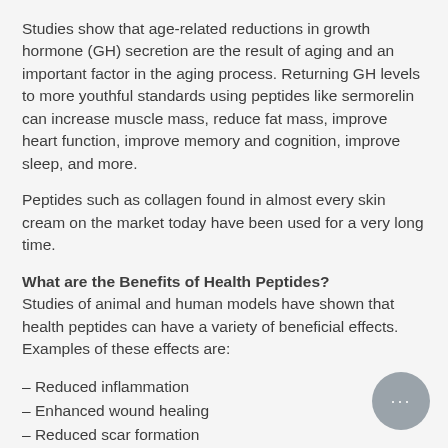Studies show that age-related reductions in growth hormone (GH) secretion are the result of aging and an important factor in the aging process. Returning GH levels to more youthful standards using peptides like sermorelin can increase muscle mass, reduce fat mass, improve heart function, improve memory and cognition, improve sleep, and more.
Peptides such as collagen found in almost every skin cream on the market today have been used for a very long time.
What are the Benefits of Health Peptides?
Studies of animal and human models have shown that health peptides can have a variety of beneficial effects. Examples of these effects are:
– Reduced inflammation
– Enhanced wound healing
– Reduced scar formation